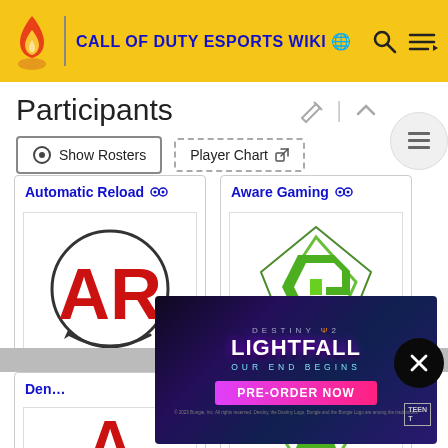CALL OF DUTY ESPORTS WIKI
Participants
Show Rosters | Player Chart
[Figure (logo): Automatic Reload team logo - red AR letters in a circular arrow design on white background]
[Figure (logo): Aware Gaming team logo - green diamond/rhombus shaped logo on white background]
[Figure (photo): Destiny 2 Lightfall advertisement - dark purple/blue space themed ad with text LIGHTFALL OUR END BEGINS and PRE-ORDER NOW pink button]
[Figure (logo): Partial team logo visible at bottom - appears to be a red logo similar to Automatic Reload]